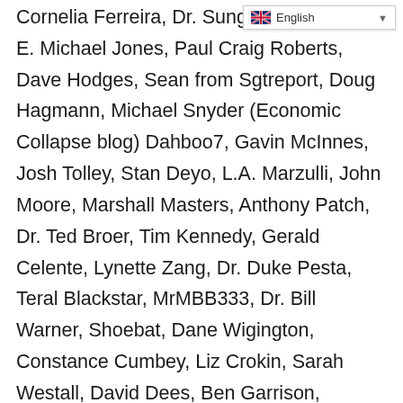Cornelia Ferreira, Dr. Sungenis, Dr. Voris, E. Michael Jones, Paul Craig Roberts, Dave Hodges, Sean from Sgtreport, Doug Hagmann, Michael Snyder (Economic Collapse blog) Dahboo7, Gavin McInnes, Josh Tolley, Stan Deyo, L.A. Marzulli, John Moore, Marshall Masters, Anthony Patch, Dr. Ted Broer, Tim Kennedy, Gerald Celente, Lynette Zang, Dr. Duke Pesta, Teral Blackstar, MrMBB333, Dr. Bill Warner, Shoebat, Dane Wigington, Constance Cumbey, Liz Crokin, Sarah Westall, David Dees, Ben Garrison, Charlotte Iserbyt, Captain Mykel Hawke #1 ranked survivalist, all top preppers and economists/geopolitical analysts, V the Guerilla Economist, Max Igan, Leo Zagami, James Perloff, E. Michael Jones, Ben Davidson (Suspicious Observers), Patrick Wood, SyrianGirl, Robert Steele, Dr. James Fetzer....